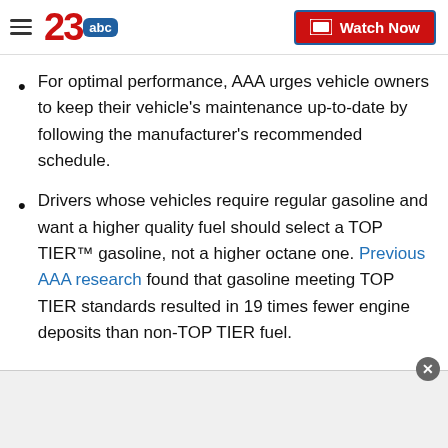23abc — Watch Now
For optimal performance, AAA urges vehicle owners to keep their vehicle's maintenance up-to-date by following the manufacturer's recommended schedule.
Drivers whose vehicles require regular gasoline and want a higher quality fuel should select a TOP TIER™ gasoline, not a higher octane one. Previous AAA research found that gasoline meeting TOP TIER standards resulted in 19 times fewer engine deposits than non-TOP TIER fuel.